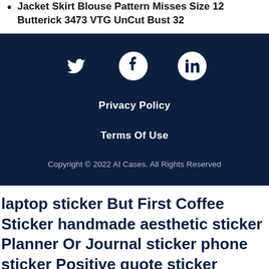Jacket Skirt Blouse Pattern Misses Size 12 Butterick 3473 VTG UnCut Bust 32
[Figure (other): Footer section with dark navy background containing social media icons (Twitter, Facebook, LinkedIn), Privacy Policy link, Terms Of Use link, and copyright notice]
Privacy Policy
Terms Of Use
Copyright © 2022 AI Cases. All Rights Reserved
laptop sticker But First Coffee Sticker handmade aesthetic sticker Planner Or Journal sticker phone sticker Positive quote sticker